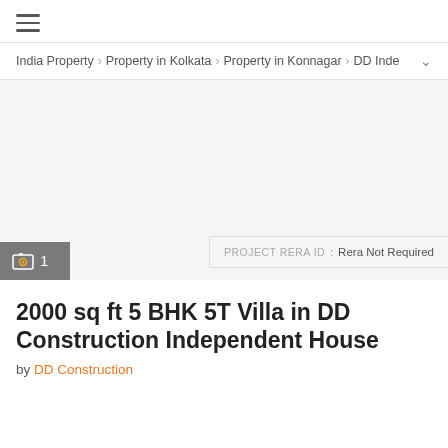≡ (hamburger menu)
India Property > Property in Kolkata > Property in Konnagar > DD Inde
[Figure (photo): Property image area, blank/white placeholder]
📷 1
PROJECT RERA ID : Rera Not Required
2000 sq ft 5 BHK 5T Villa in DD Construction Independent House
by DD Construction